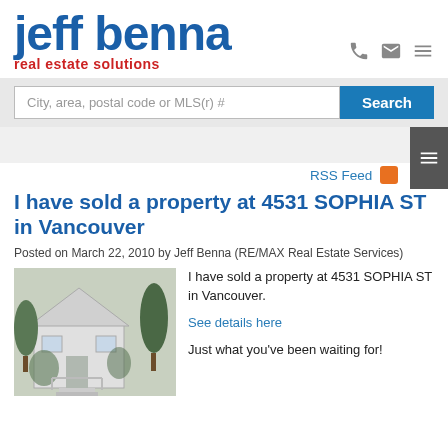[Figure (logo): Jeff Benna Real Estate Solutions logo with blue text and red subtitle]
City, area, postal code or MLS(r) #
Search
RSS Feed
I have sold a property at 4531 SOPHIA ST in Vancouver
Posted on March 22, 2010 by Jeff Benna (RE/MAX Real Estate Services)
[Figure (photo): Photo of a house at 4531 Sophia ST in Vancouver, exterior view with trees and stairs]
I have sold a property at 4531 SOPHIA ST in Vancouver.
See details here
Just what you've been waiting for!